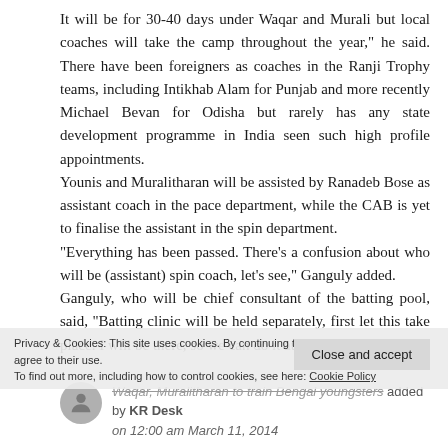It will be for 30-40 days under Waqar and Murali but local coaches will take the camp throughout the year,” he said. There have been foreigners as coaches in the Ranji Trophy teams, including Intikhab Alam for Punjab and more recently Michael Bevan for Odisha but rarely has any state development programme in India seen such high profile appointments. Younis and Muralitharan will be assisted by Ranadeb Bose as assistant coach in the pace department, while the CAB is yet to finalise the assistant in the spin department. “Everything has been passed. There’s a confusion about who will be (assistant) spin coach, let’s see,” Ganguly added. Ganguly, who will be chief consultant of the batting pool, said, “Batting clinic will be held separately, first let this take place. I will be there, so we can do it at an appropriate time.
Privacy & Cookies: This site uses cookies. By continuing to use this website, you agree to their use. To find out more, including how to control cookies, see here: Cookie Policy
Close and accept
Waqar, Muralitharan to train Bengal youngsters added by KR Desk on 12:00 am March 11, 2014